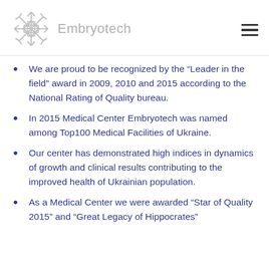Embryotech
We are proud to be recognized by the “Leader in the field” award in 2009, 2010 and 2015 according to the National Rating of Quality bureau.
In 2015 Medical Center Embryotech was named among Top100 Medical Facilities of Ukraine.
Our center has demonstrated high indices in dynamics of growth and clinical results contributing to the improved health of Ukrainian population.
As a Medical Center we were awarded “Star of Quality 2015” and “Great Legacy of Hippocrates”